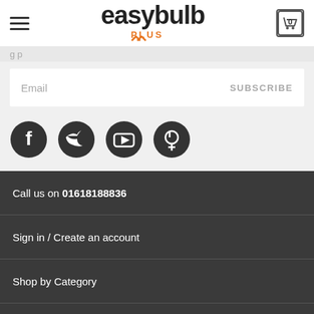easybulb PLUS (logo with hamburger menu and cart)
Email  SUBSCRIBE
[Figure (illustration): Social media icons: Facebook, Twitter, YouTube, Pinterest]
Call us on 01618188836
Sign in / Create an account
Shop by Category
Shop by Brand
More Information